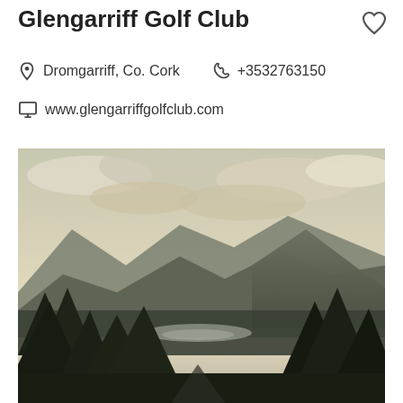Glengarriff Golf Club
Dromgarriff, Co. Cork   +3532763150
www.glengarriffgolfclub.com
[Figure (photo): Scenic landscape photo of Glengarriff Golf Club showing mountains, forest, a lake or river, and dramatic cloudy sky.]